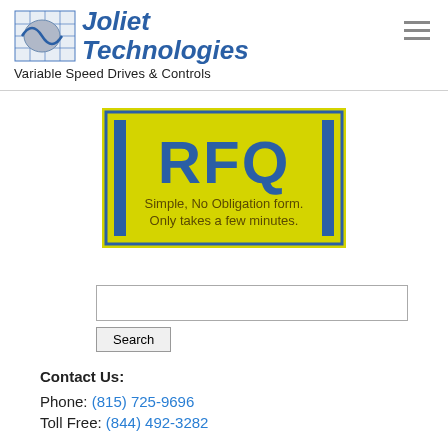[Figure (logo): Joliet Technologies logo with grid/wave icon and text 'Joliet Technologies Variable Speed Drives & Controls']
[Figure (infographic): RFQ banner: yellow background with blue border bars on sides, large blue text 'RFQ', subtitle 'Simple, No Obligation form. Only takes a few minutes.']
Search
Contact Us:
Phone: (815) 725-9696
Toll Free: (844) 492-3282